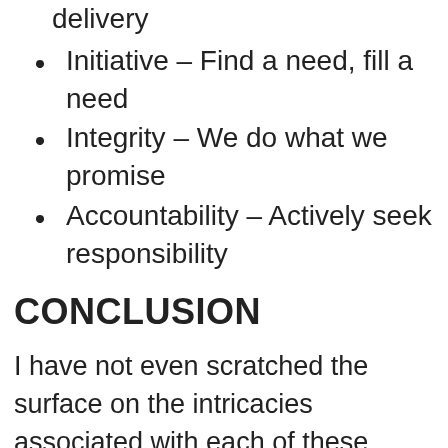delivery
Initiative – Find a need, fill a need
Integrity – We do what we promise
Accountability – Actively seek responsibility
CONCLUSION
I have not even scratched the surface on the intricacies associated with each of these strategies or the myriad of other strategies available, but I am sure we can agree that there is a utility in their application within a corporate and